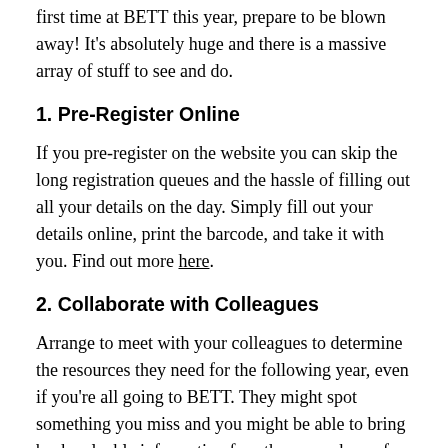first time at BETT this year, prepare to be blown away! It's absolutely huge and there is a massive array of stuff to see and do.
1. Pre-Register Online
If you pre-register on the website you can skip the long registration queues and the hassle of filling out all your details on the day. Simply fill out your details online, print the barcode, and take it with you. Find out more here.
2. Collaborate with Colleagues
Arrange to meet with your colleagues to determine the resources they need for the following year, even if you're all going to BETT. They might spot something you miss and you might be able to bring back valuable information for others members of your team. Many hands make light